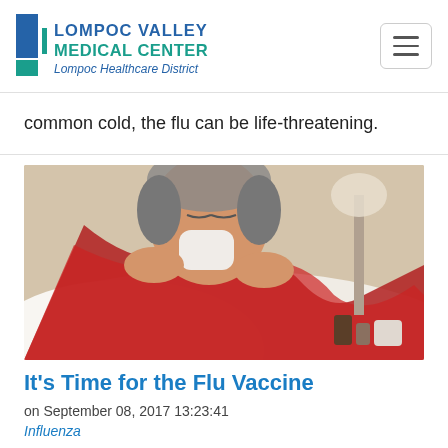[Figure (logo): Lompoc Valley Medical Center logo with blue and teal squares and tagline 'Lompoc Healthcare District']
common cold, the flu can be life-threatening.
[Figure (photo): Man sick in bed blowing his nose, wrapped in a red scarf, with medicines on the bedside table]
It's Time for the Flu Vaccine
on September 08, 2017 13:23:41
Influenza...